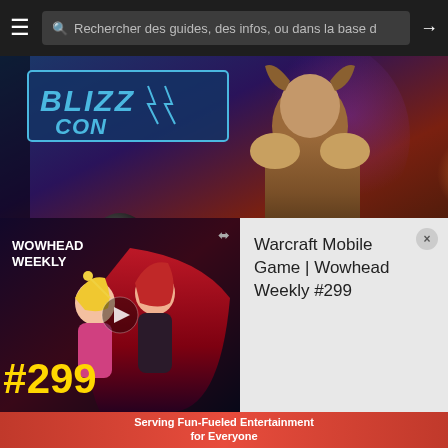Rechercher des guides, des infos, ou dans la base d
[Figure (photo): BlizzCon stage photo showing a cosplayer in brown fantasy armor costume with BlizzCon logo sign visible in upper left, colorful stage lighting in blues and reds]
BlizzCon 2016 Cosplay Gallery
BlizzCon is the perfect place for fans to get together and celebrate their love for gaming. Certain fans are a little more legendary than...
[Figure (screenshot): Wowhead Weekly #299 video thumbnail featuring anime-style characters with red cape, bold yellow #299 text, and Wowhead Weekly logo]
Warcraft Mobile Game | Wowhead Weekly #299
Serving Fun-Fueled Entertainment for Everyone